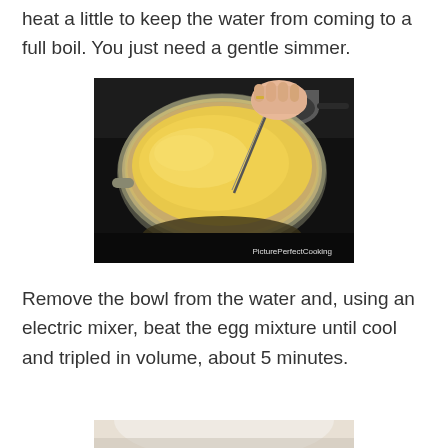heat a little to keep the water from coming to a full boil. You just need a gentle simmer.
[Figure (photo): A glass bowl containing yellow egg mixture being stirred with a whisk, sitting over a pot of water on a stove. Watermark reads PicturePerfectCooking.]
Remove the bowl from the water and, using an electric mixer, beat the egg mixture until cool and tripled in volume, about 5 minutes.
[Figure (photo): Partial view of a second photo showing a mixing bowl, cropped at bottom of page.]